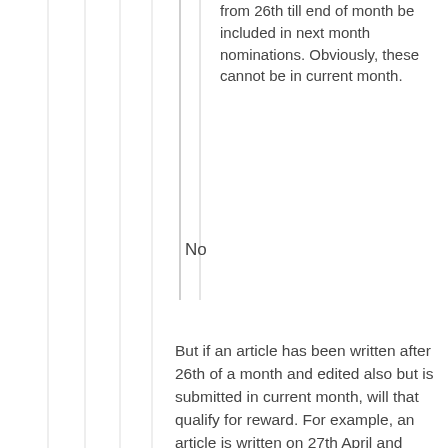from 26th till end of month be included in next month nominations. Obviously, these cannot be in current month.
No
But if an article has been written after 26th of a month and edited also but is submitted in current month, will that qualify for reward. For example, an article is written on 27th April and